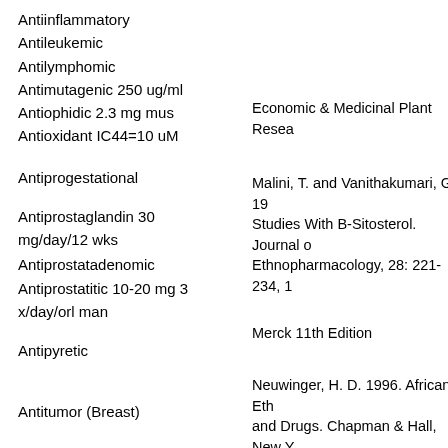Antiinflammatory
Antileukemic
Antilymphomic
Antimutagenic 250 ug/ml
Antiophidic 2.3 mg mus
Antioxidant IC44=10 uM
Antiprogestational
Antiprostaglandin 30 mg/day/12 wks
Antiprostatadenomic
Antiprostatitic 10-20 mg 3 x/day/orl man
Antipyretic
Antitumor (Breast)
Antitumor (Cervix)
Antitumor (Lung)
Economic & Medicinal Plant Resea...
Malini, T. and Vanithakumari, G. 19... Studies With B-Sitosterol. Journal o... Ethnopharmacology, 28: 221-234, 1...
Merck 11th Edition
Neuwinger, H. D. 1996. African Eth... and Drugs. Chapman & Hall, New Y...
Madhavi, D. L., Bomser, J., Smith, E... 1998. Isolation of Bioactive Constitu... Vaccinium myrtillus (Bilberry) Fruit... Cultures. Plant Sci., 131(1): 95-103.